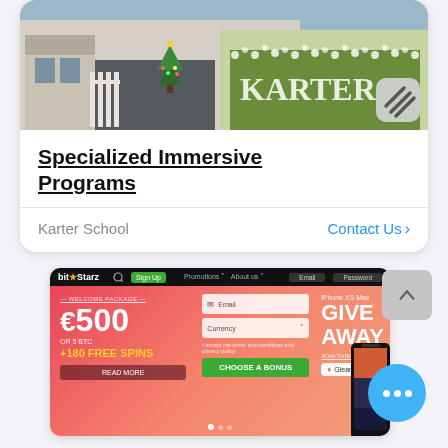[Figure (screenshot): Karter School promotional card with photo of decorated venue (Christmas/wedding decor with KARTER sign), title 'Specialized Immersive Programs', source 'Karter School', and 'Contact Us' CTA button]
[Figure (screenshot): BitStarz casino website screenshot showing welcome package of €500 or 5 BTC + 180 free spins, and iPhone XS Max Giveaway via Gleam]